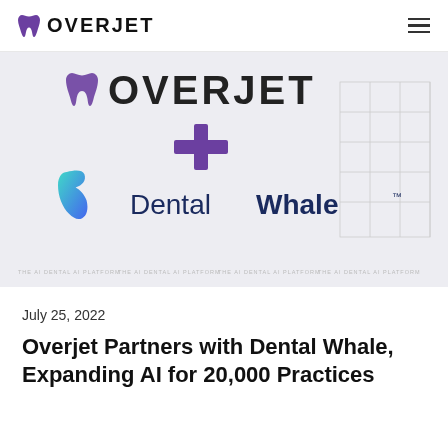OVERJET
[Figure (logo): Overjet and DentalWhale partnership announcement image. Shows the Overjet logo (tooth icon + OVERJET text in large purple/black) plus a purple plus sign, and the DentalWhale logo with a blue gradient 'D' whale fin icon and 'DentalWhale' text in navy. Background is light grey with a faint grid outline on the right side and repeated 'THE AI DENTAL AI PLATFORM' marquee text at the bottom.]
July 25, 2022
Overjet Partners with Dental Whale, Expanding AI for 20,000 Practices